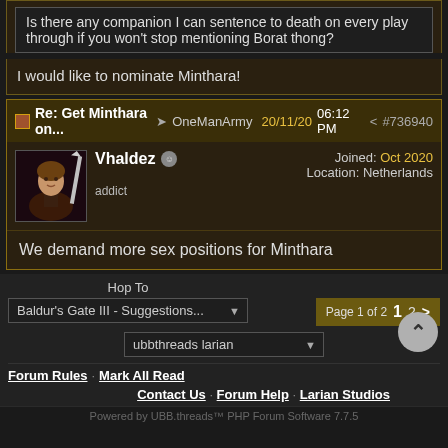Is there any companion I can sentence to death on every play through if you won't stop mentioning Borat thong?
I would like to nominate Minthara!
Re: Get Minthara on... → OneManArmy 20/11/20 06:12 PM < #736940
Vhaldez
addict
Joined: Oct 2020
Location: Netherlands
We demand more sex positions for Minthara
Hop To
Baldur's Gate III - Suggestions...
Page 1 of 2   1  2  >
ubbthreads larian
Forum Rules · Mark All Read
Contact Us · Forum Help · Larian Studios
Powered by UBB.threads™ PHP Forum Software 7.7.5